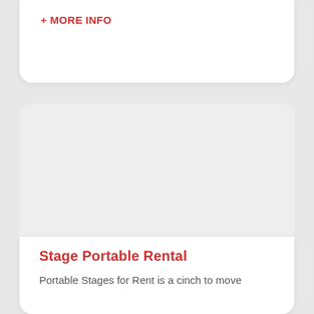+ MORE INFO
[Figure (photo): Large light gray rectangular image placeholder area inside a card]
Stage Portable Rental
Portable Stages for Rent is a cinch to move